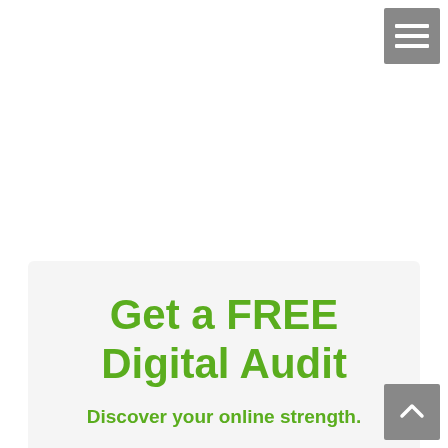[Figure (screenshot): Hamburger menu icon button (three horizontal white lines on grey background) in top right corner]
Get a FREE Digital Audit
Discover your online strength.
[Figure (other): Scroll to top button (upward arrow on grey background) in bottom right corner]